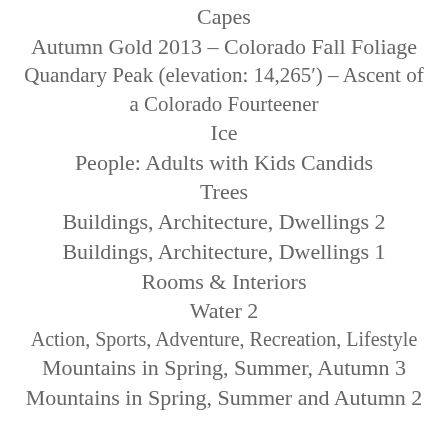Capes
Autumn Gold 2013 – Colorado Fall Foliage
Quandary Peak (elevation: 14,265′) – Ascent of a Colorado Fourteener
Ice
People: Adults with Kids Candids
Trees
Buildings, Architecture, Dwellings 2
Buildings, Architecture, Dwellings 1
Rooms & Interiors
Water 2
Action, Sports, Adventure, Recreation, Lifestyle
Mountains in Spring, Summer, Autumn 3
Mountains in Spring, Summer and Autumn 2